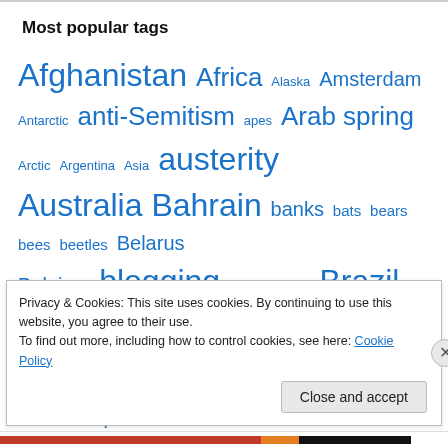Most popular tags
Afghanistan Africa Alaska Amsterdam Antarctic anti-Semitism apes Arab spring Arctic Argentina Asia austerity Australia Bahrain banks bats bears bees beetles Belarus Belgium blogging BP Brabant Brazil Bush butterflies California Canada Caribbean cars cats censorship Chile China Christmas CIA Climate change Colombia Conservative party ... Cornwall
Privacy & Cookies: This site uses cookies. By continuing to use this website, you agree to their use.
To find out more, including how to control cookies, see here: Cookie Policy
Close and accept